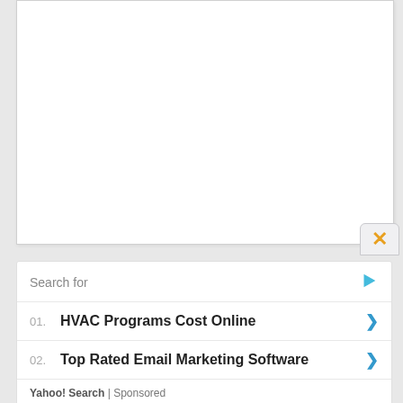[Figure (screenshot): White panel area representing a closed or blank content area with a light gray background]
Search for
01. HVAC Programs Cost Online
02. Top Rated Email Marketing Software
Yahoo! Search | Sponsored